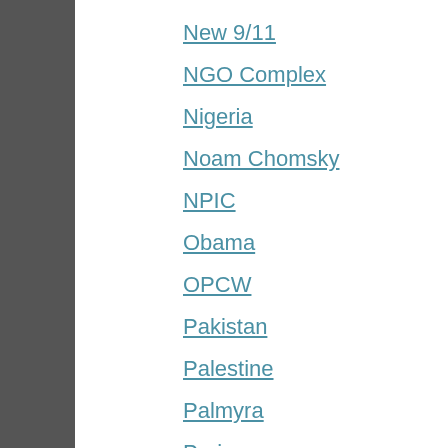New 9/11
NGO Complex
Nigeria
Noam Chomsky
NPIC
Obama
OPCW
Pakistan
Palestine
Palmyra
Paris
Paris 13/11
Pfizer
Police State
Polio
President Assad